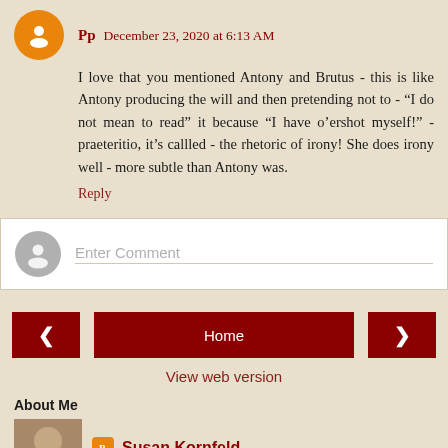Pp  December 23, 2020 at 6:13 AM
I love that you mentioned Antony and Brutus - this is like Antony producing the will and then pretending not to - “I do not mean to read” it because “I have o’ershot myself!” - praeteritio, it’s callled - the rhetoric of irony! She does irony well - more subtle than Antony was.
Reply
Enter Comment
< Home >
View web version
About Me
Susan Kornfeld